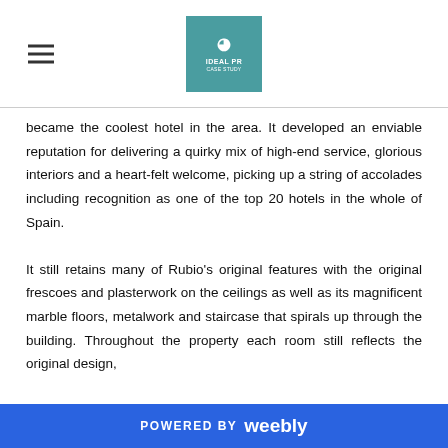IDEAL PR logo and hamburger menu
became the coolest hotel in the area. It developed an enviable reputation for delivering a quirky mix of high-end service, glorious interiors and a heart-felt welcome, picking up a string of accolades including recognition as one of the top 20 hotels in the whole of Spain.
It still retains many of Rubio’s original features with the original frescoes and plasterwork on the ceilings as well as its magnificent marble floors, metalwork and staircase that spirals up through the building. Throughout the property each room still reflects the original design,
POWERED BY weebly